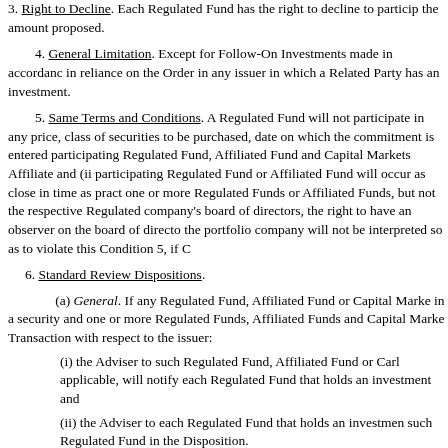3. Right to Decline. Each Regulated Fund has the right to decline to participate in the amount proposed.
4. General Limitation. Except for Follow-On Investments made in accordance in reliance on the Order in any issuer in which a Related Party has an investment.
5. Same Terms and Conditions. A Regulated Fund will not participate in any price, class of securities to be purchased, date on which the commitment is entered participating Regulated Fund, Affiliated Fund and Capital Markets Affiliate and (ii participating Regulated Fund or Affiliated Fund will occur as close in time as pract one or more Regulated Funds or Affiliated Funds, but not the respective Regulated company's board of directors, the right to have an observer on the board of directo the portfolio company will not be interpreted so as to violate this Condition 5, if C
6. Standard Review Dispositions.
(a) General. If any Regulated Fund, Affiliated Fund or Capital Marke in a security and one or more Regulated Funds, Affiliated Funds and Capital Marke Transaction with respect to the issuer:
(i) the Adviser to such Regulated Fund, Affiliated Fund or Carl applicable, will notify each Regulated Fund that holds an investment and
(ii) the Adviser to each Regulated Fund that holds an investmen such Regulated Fund in the Disposition.
(b) Same Terms and Conditions. Each Regulated Fund will have the same price and on the same terms and conditions as those applicable to the Affiliat